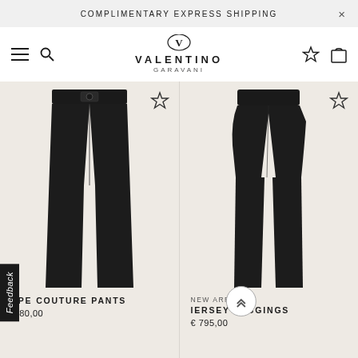COMPLIMENTARY EXPRESS SHIPPING
[Figure (logo): Valentino Garavani logo with V emblem, brand name VALENTINO GARAVANI]
[Figure (photo): Black crepe couture wide-leg pants with belted waist detail, product photo on white/beige background]
CREPE COUTURE PANTS
€ 380,00
[Figure (photo): Black jersey slim leggings, product photo on white/beige background]
NEW ARRIVAL
JERSEY LEGGINGS
€ 795,00